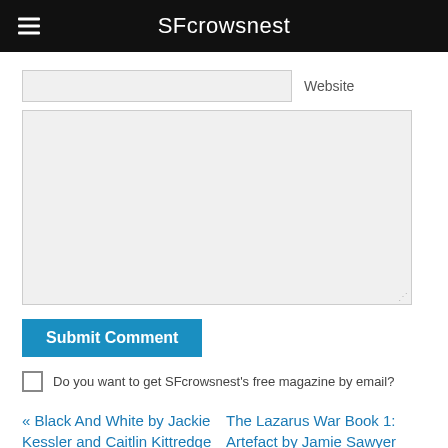SFcrowsnest
Website
[Figure (screenshot): Website input text field (empty, gray background)]
[Figure (screenshot): Large comment textarea (empty, gray background, resizable)]
Submit Comment
Do you want to get SFcrowsnest's free magazine by email?
« Black And White by Jackie Kessler and Caitlin Kittredge (book review).
The Lazarus War Book 1: Artefact by Jamie Sawyer (book review). »